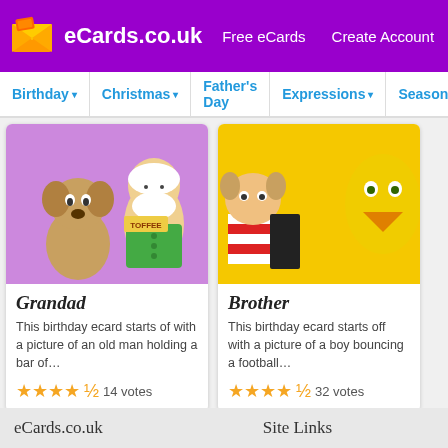eCards.co.uk | Free eCards | Create Account
Birthday ▾  Christmas ▾  Father's Day  Expressions ▾  Season
[Figure (screenshot): Card image for Grandad ecard showing cartoon dog and old man with toffee bar on purple background]
Grandad
This birthday ecard starts of with a picture of an old man holding a bar of…
★★★★½  14 votes
[Figure (screenshot): Card image for Brother ecard showing cartoon boy and characters on yellow background]
Brother
This birthday ecard starts off with a picture of a boy bouncing a football…
★★★★½  32 votes
1  2  3  4  5  6  >
eCards.co.uk    Site Links